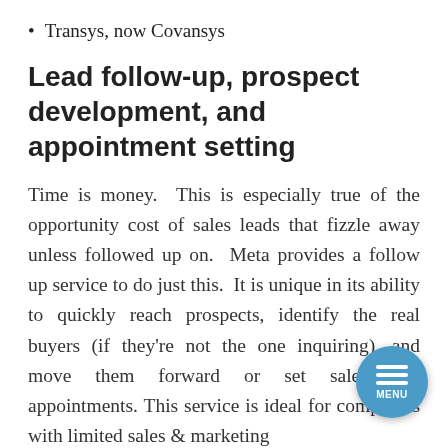Transys, now Covansys
Lead follow-up, prospect development, and appointment setting
Time is money.  This is especially true of the opportunity cost of sales leads that fizzle away unless followed up on.  Meta provides a follow up service to do just this.  It is unique in its ability to quickly reach prospects, identify the real buyers (if they're not the one inquiring), and move them forward or set sales call appointments. This service is ideal for companies with limited sales & marketing